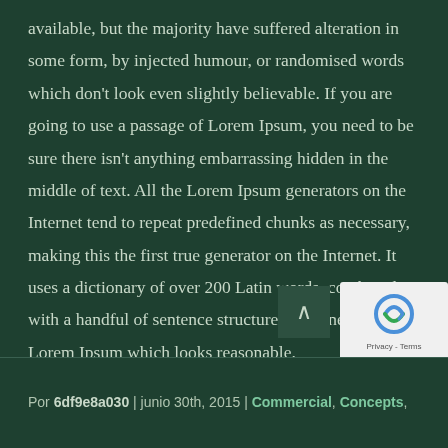available, but the majority have suffered alteration in some form, by injected humour, or randomised words which don't look even slightly believable. If you are going to use a passage of Lorem Ipsum, you need to be sure there isn't anything embarrassing hidden in the middle of text. All the Lorem Ipsum generators on the Internet tend to repeat predefined chunks as necessary, making this the first true generator on the Internet. It uses a dictionary of over 200 Latin words, combined with a handful of sentence structures, to generate Lorem Ipsum which looks reasonable.
Por 6df9e8a030 | junio 30th, 2015 | Commercial, Concepts,